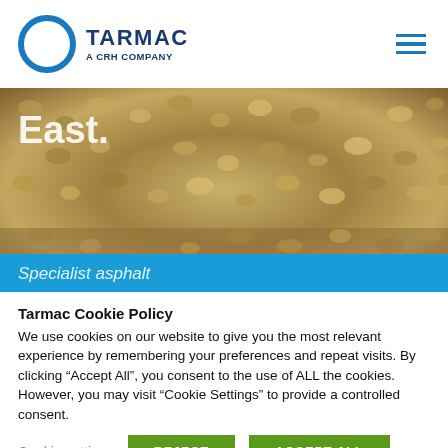[Figure (logo): Tarmac logo — blue circle ring with 'TARMAC' in bold dark blue and 'A CRH COMPANY' beneath, plus hamburger menu icon top-right]
[Figure (photo): Close-up photograph of aggregate/gravel material, tan and brown tones. Text 'East.' visible in white at top-left. Blue banner bar at bottom with italic text partially visible 'Specialist asphalt...']
Tarmac Cookie Policy
We use cookies on our website to give you the most relevant experience by remembering your preferences and repeat visits. By clicking “Accept All”, you consent to the use of ALL the cookies. However, you may visit "Cookie Settings" to provide a controlled consent.
Cookie settings
REJECT
ACCEPT ALL